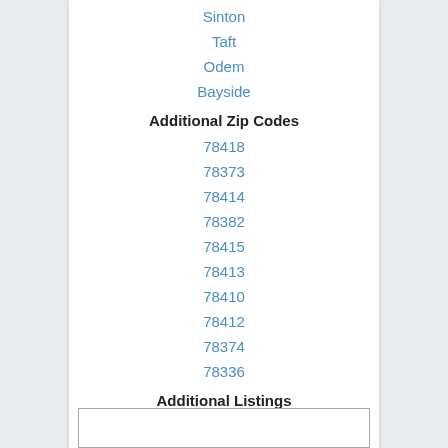Sinton
Taft
Odem
Bayside
Additional Zip Codes
78418
78373
78414
78382
78415
78413
78410
78412
78374
78336
Additional Listings
Featured Listings